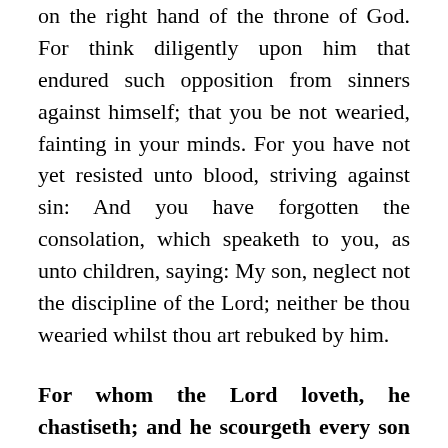on the right hand of the throne of God. For think diligently upon him that endured such opposition from sinners against himself; that you be not wearied, fainting in your minds. For you have not yet resisted unto blood, striving against sin: And you have forgotten the consolation, which speaketh to you, as unto children, saying: My son, neglect not the discipline of the Lord; neither be thou wearied whilst thou art rebuked by him.
For whom the Lord loveth, he chastiseth; and he scourgeth every son whom he receiveth. Persevere under discipline. God dealeth with you as with his sons; for what son is there, whom the father doth not correct?